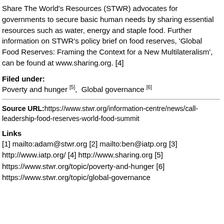Share The World's Resources (STWR) advocates for governments to secure basic human needs by sharing essential resources such as water, energy and staple food. Further information on STWR's policy brief on food reserves, 'Global Food Reserves: Framing the Context for a New Multilateralism', can be found at www.sharing.org. [4]
Filed under:
Poverty and hunger [5],  Global governance [6]
Source URL:https://www.stwr.org/information-centre/news/call-leadership-food-reserves-world-food-summit
Links
[1] mailto:adam@stwr.org [2] mailto:ben@iatp.org [3] http://www.iatp.org/ [4] http://www.sharing.org [5] https://www.stwr.org/topic/poverty-and-hunger [6] https://www.stwr.org/topic/global-governance